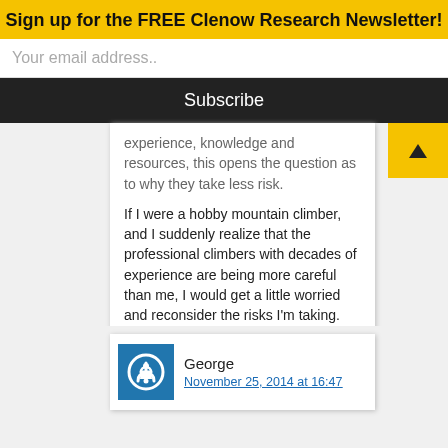Sign up for the FREE Clenow Research Newsletter!
Your email address..
Subscribe
experience, knowledge and resources, this opens the question as to why they take less risk.
If I were a hobby mountain climber, and I suddenly realize that the professional climbers with decades of experience are being more careful than me, I would get a little worried and reconsider the risks I'm taking.
George
November 25, 2014 at 16:47